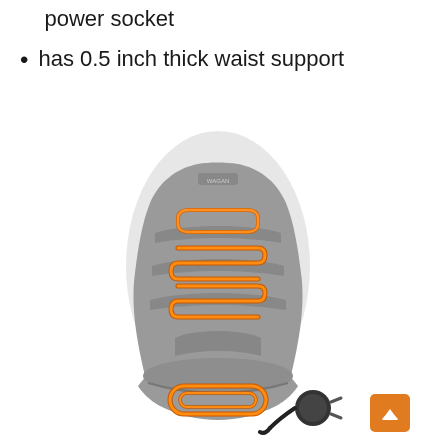power socket
has 0.5 inch thick waist support
[Figure (photo): A gray heated car seat cushion with orange heating element coils visible in an S-pattern on the back and seat portions, with a 12V car power plug adapter shown in the lower right corner.]